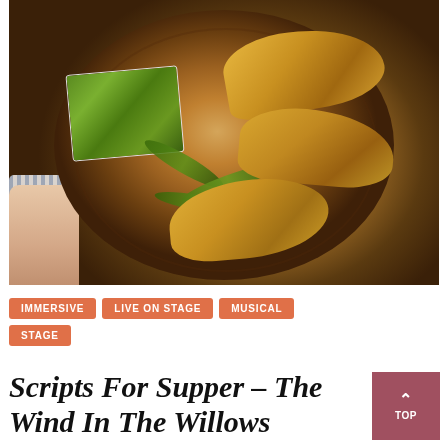[Figure (photo): A person holding a round wooden stump board with golden baked pastries/pies topped with black seeds, fresh dill herbs, and a white square bowl filled with bright green herb sauce]
IMMERSIVE
LIVE ON STAGE
MUSICAL
STAGE
Scripts For Supper – The Wind In The Willows